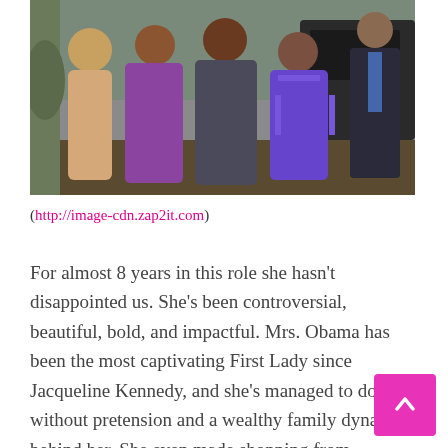[Figure (photo): Group of people outdoors, women wearing purple and dark colored coats, standing near a vehicle]
(http://image-cdn.zap2it.com)
For almost 8 years in this role she hasn't disappointed us. She's been controversial, beautiful, bold, and impactful. Mrs. Obama has been the most captivating First Lady since Jacqueline Kennedy, and she's managed to do it without pretension and a wealthy family dynasty behind her. She even made shopping from accessible and budget friendly retail